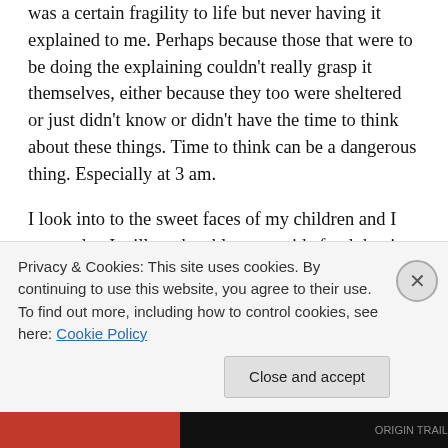was a certain fragility to life but never having it explained to me. Perhaps because those that were to be doing the explaining couldn't really grasp it themselves, either because they too were sheltered or just didn't know or didn't have the time to think about these things. Time to think can be a dangerous thing. Especially at 3 am.
I look into to the sweet faces of my children and I worry that I will not be able to provide food that is healthy enough, care that is loving enough, shelter that is warm enough and lessons that are wise enough. Sometimes it feels like I will be crushed under this weight. It disables my ability to properly parent in that moment. Disables my ability to make good decisions about food and budget.
Yes I am fortunate to live in a country with more of a social
Privacy & Cookies: This site uses cookies. By continuing to use this website, you agree to their use.
To find out more, including how to control cookies, see here: Cookie Policy
Close and accept